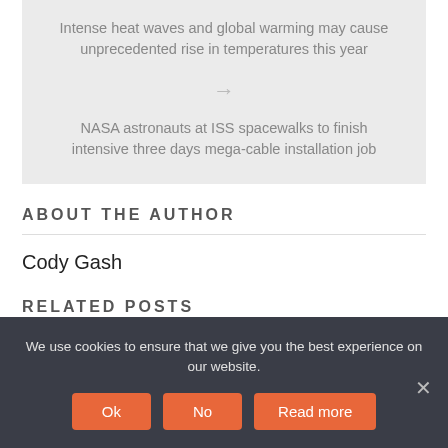Intense heat waves and global warming may cause unprecedented rise in temperatures this year
NASA astronauts at ISS spacewalks to finish intensive three days mega-cable installation job
ABOUT THE AUTHOR
Cody Gash
RELATED POSTS
We use cookies to ensure that we give you the best experience on our website.